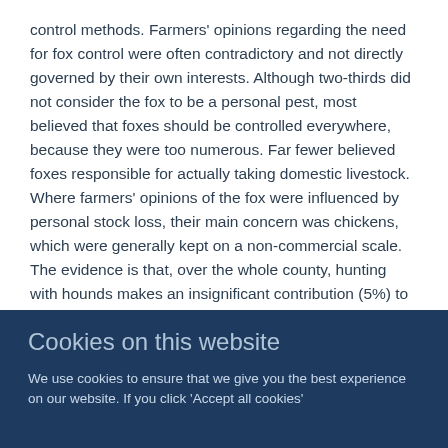control methods. Farmers' opinions regarding the need for fox control were often contradictory and not directly governed by their own interests. Although two-thirds did not consider the fox to be a personal pest, most believed that foxes should be controlled everywhere, because they were too numerous. Far fewer believed foxes responsible for actually taking domestic livestock. Where farmers' opinions of the fox were influenced by personal stock loss, their main concern was chickens, which were generally kept on a non-commercial scale. The evidence is that, over the whole county, hunting with hounds makes an insignificant contribution (5%) to total mortality (through 'control efforts'), most being shot. A greater density of foxes was reported shot when there was a perceived pest problem, where lamb or gamebird losses were reported, or
Cookies on this website
We use cookies to ensure that we give you the best experience on our website. If you click 'Accept all cookies'